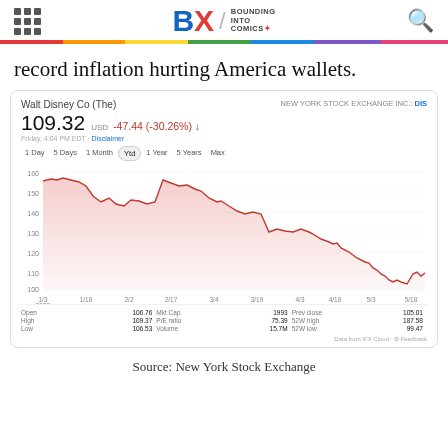Bounding Into Comics — navigation header with logo
record inflation hurting America wallets.
[Figure (continuous-plot): Walt Disney Co (The) stock chart YTD 2022. Price started near 157 in early January, declined with volatility, peaked around 157 in Feb, then showed a sustained downtrend to approximately 109.32 by late May 2022. The chart shows a red line with pink shaded area beneath. X-axis: 1/3 2022, 1/18, 2/2, 2/17, 3/4, 3/19, 4/3, 4/18, 5/3, 5/18. Y-axis: 100, 110, 120, 130, 140, 150, 160. Stock: DIS on NYSE. Price: 109.32 USD, change: -47.44 (-30.26%) down arrow.]
Source: New York Stock Exchange